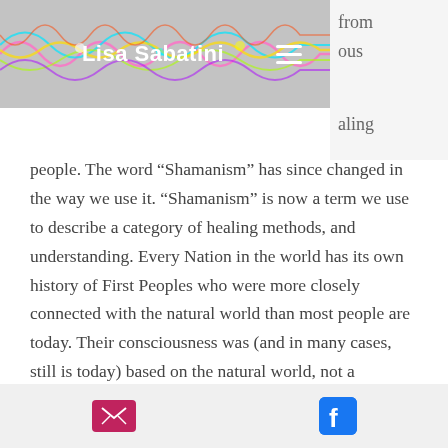Lisa Sabatini
aling people. The word “Shamanism” has since changed in the way we use it. “Shamanism” is now a term we use to describe a category of healing methods, and understanding. Every Nation in the world has its own history of First Peoples who were more closely connected with the natural world than most people are today. Their consciousness was (and in many cases, still is today) based on the natural world, not a technological based consciousness. They operated from a different point of view. Their beliefs about